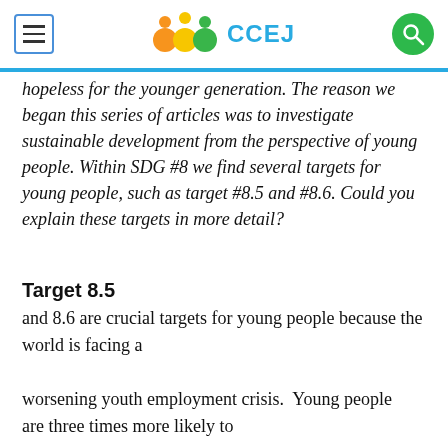CCEJ
hopeless for the younger generation. The reason we began this series of articles was to investigate sustainable development from the perspective of young people. Within SDG #8 we find several targets for young people, such as target #8.5 and #8.6. Could you explain these targets in more detail?
Target 8.5 and 8.6 are crucial targets for young people because the world is facing a worsening youth employment crisis. Young people are three times more likely to